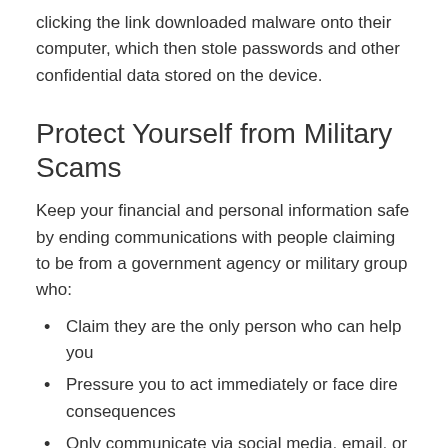clicking the link downloaded malware onto their computer, which then stole passwords and other confidential data stored on the device.
Protect Yourself from Military Scams
Keep your financial and personal information safe by ending communications with people claiming to be from a government agency or military group who:
Claim they are the only person who can help you
Pressure you to act immediately or face dire consequences
Only communicate via social media, email, or text message
Call out of the blue, requesting account numbers,